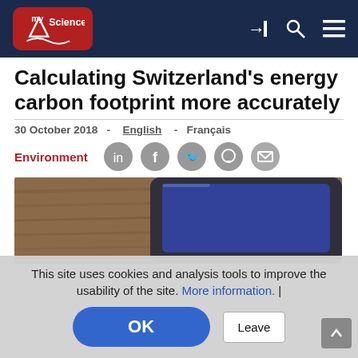myScience
Calculating Switzerland's energy carbon footprint more accurately
30 October 2018  -  English  -  Français
Environment
[Figure (screenshot): Social media sharing icons: LinkedIn, Facebook, Twitter, WhatsApp, Email]
[Figure (photo): Close-up photo of a smartphone lying on a wooden surface, screen showing a blue tint, partially visible]
This site uses cookies and analysis tools to improve the usability of the site. More information. | OK  Leave